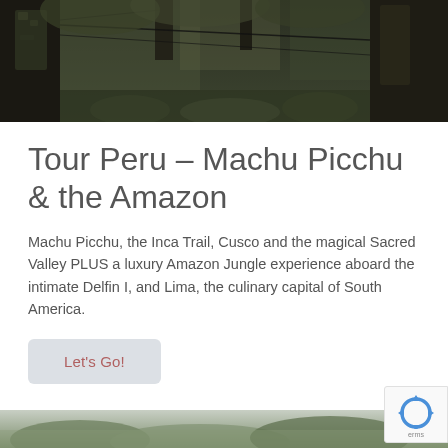[Figure (photo): Dark forest/jungle photo with tall trees, hanging vines or wires, green foliage — top portion of a Peru travel page]
Tour Peru – Machu Picchu & the Amazon
Machu Picchu, the Inca Trail, Cusco and the magical Sacred Valley PLUS a luxury Amazon Jungle experience aboard the intimate Delfin I, and Lima, the culinary capital of South America.
Let's Go!
[Figure (photo): Bottom partial image showing green jungle/forest canopy — bottom of the page]
[Figure (other): reCAPTCHA badge in bottom right corner with recycle-arrow icon and 'erms' text visible]